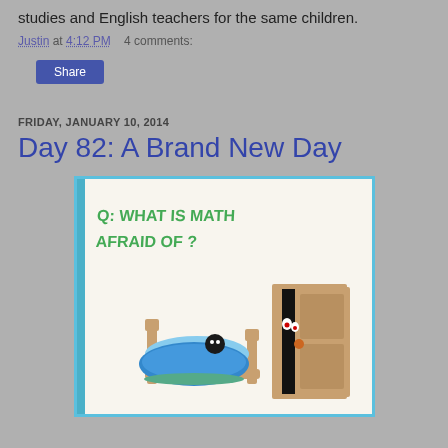studies and English teachers for the same children.
Justin at 4:12 PM    4 comments:
Share
FRIDAY, JANUARY 10, 2014
Day 82: A Brand New Day
[Figure (illustration): Child's drawing on whiteboard: text reads 'Q: WHAT IS MATH AFRAID OF ?' with a cartoon figure in bed covered by blue blanket and a dark monster peeking through a door.]